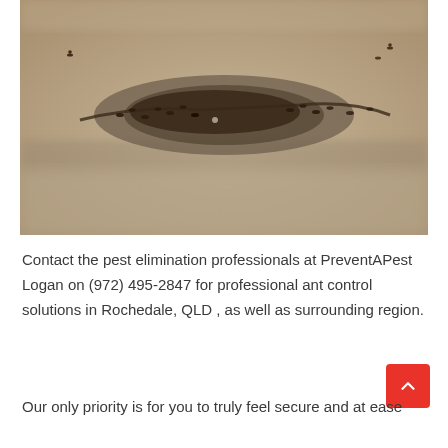[Figure (photo): Close-up photograph of ants swarming on sandy ground, with a large cluster of dark red/brown ants visible in the center of the image on a beige sandy surface.]
Contact the pest elimination professionals at PreventAPest Logan on (972) 495-2847 for professional ant control solutions in Rochedale, QLD , as well as surrounding region.
Our only priority is for you to truly feel secure and at ease